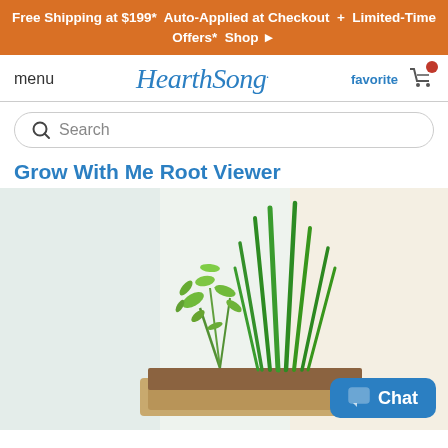Free Shipping at $199*  Auto-Applied at Checkout  +  Limited-Time Offers*  Shop ▶
[Figure (logo): HearthSong logo with menu, favorite, and cart icons in navigation bar]
Search
Grow With Me Root Viewer
[Figure (photo): Photo of plants growing in a root viewer planter box showing green grass-like plants and leafy plants with a Chat button overlay]